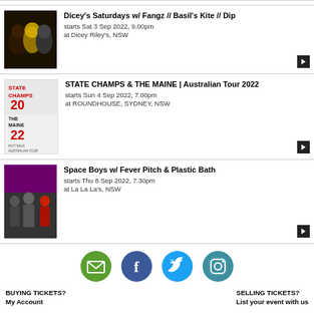Dicey's Saturdays w/ Fangz // Basil's Kite // Dip
starts Sat 3 Sep 2022, 9.00pm
at Dicey Riley's, NSW
STATE CHAMPS & THE MAINE | Australian Tour 2022
starts Sun 4 Sep 2022, 7.00pm
at ROUNDHOUSE, SYDNEY, NSW
Space Boys w/ Fever Pitch & Plastic Bath
starts Thu 8 Sep 2022, 7.30pm
at La La La's, NSW
[Figure (infographic): Social media icons: email (green circle), Facebook (dark blue circle), Twitter (light blue circle), Instagram (teal circle)]
BUYING TICKETS?
My Account
SELLING TICKETS?
List your event with us